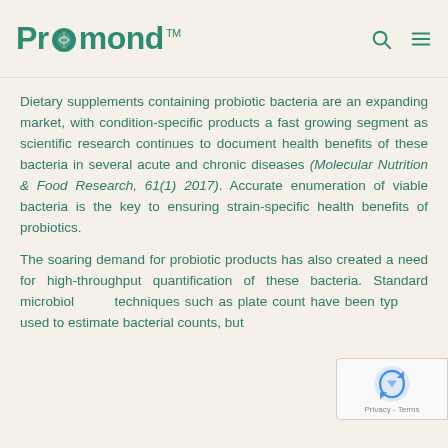Promond™
Dietary supplements containing probiotic bacteria are an expanding market, with condition-specific products a fast growing segment as scientific research continues to document health benefits of these bacteria in several acute and chronic diseases (Molecular Nutrition & Food Research, 61(1) 2017). Accurate enumeration of viable bacteria is the key to ensuring strain-specific health benefits of probiotics.
The soaring demand for probiotic products has also created a need for high-throughput quantification of these bacteria. Standard microbiological techniques such as plate count have been typically used to estimate bacterial counts, but these